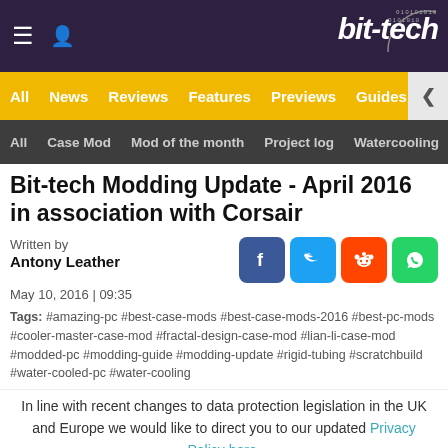bit-tech
All | News | Reviews | Features | Previews | Guides | Bl
All | Case Mod | Mod of the month | Project log | Watercooling
Bit-tech Modding Update - April 2016 in association with Corsair
Written by
Antony Leather
May 10, 2016 | 09:35
Tags: #amazing-pc #best-case-mods #best-case-mods-2016 #best-pc-mods #cooler-master-case-mod #fractal-design-case-mod #lian-li-case-mod #modded-pc #modding-guide #modding-update #rigid-tubing #scratchbuild #water-cooled-pc #water-cooling
In line with recent changes to data protection legislation in the UK and Europe we would like to direct you to our updated Privacy Policy here.
Dismiss